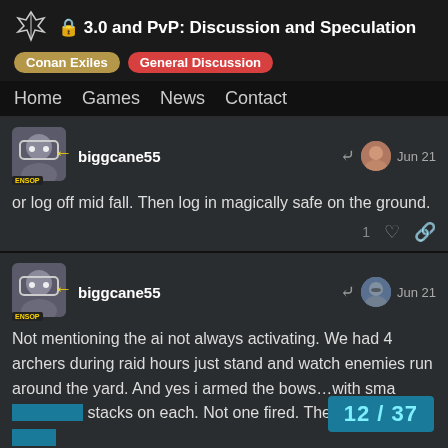🔒 3.0 and PvP: Discussion and Speculation
Conan Exiles   General Discussion
Home   Games   News   Contact
biggcane55   Jun 21
or log off mid fall. Then log in magically safe on the ground.
biggcane55   Jun 21
Not mentioning the ai not always activating. We had 4 archers during raid hours just stand and watch enemies run around the yard. And yes i armed the bows…with sma stacks on each. Not one fired. These same
12 / 37